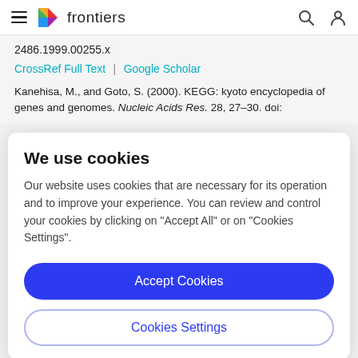frontiers
2486.1999.00255.x
CrossRef Full Text | Google Scholar
Kanehisa, M., and Goto, S. (2000). KEGG: kyoto encyclopedia of genes and genomes. Nucleic Acids Res. 28, 27–30. doi:
We use cookies
Our website uses cookies that are necessary for its operation and to improve your experience. You can review and control your cookies by clicking on "Accept All" or on "Cookies Settings".
Accept Cookies
Cookies Settings